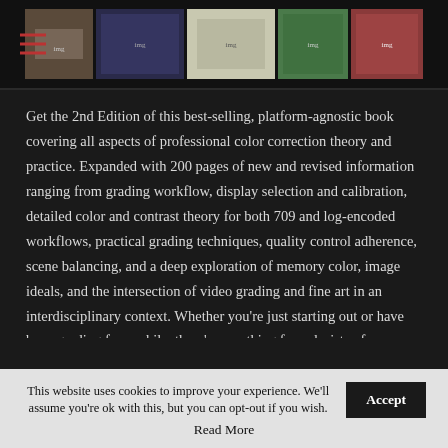[Navigation header with hamburger menu and book cover image strip]
Get the 2nd Edition of this best-selling, platform-agnostic book covering all aspects of professional color correction theory and practice. Expanded with 200 pages of new and revised information ranging from grading workflow, display selection and calibration, detailed color and contrast theory for both 709 and log-encoded workflows, practical grading techniques, quality control adherence, scene balancing, and a deep exploration of memory color, image ideals, and the intersection of video grading and fine art in an interdisciplinary context. Whether you're just starting out or have been grading for a while, there's something for colorists of
This website uses cookies to improve your experience. We'll assume you're ok with this, but you can opt-out if you wish.
Accept
Read More